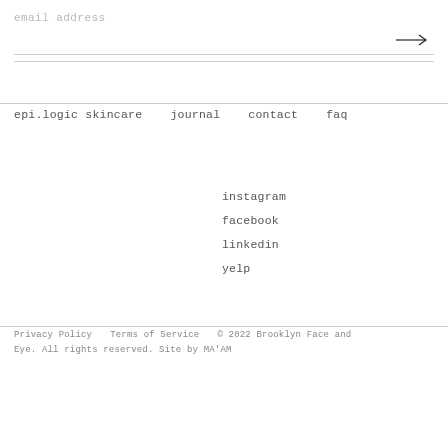email address
epi.logic skincare
journal
contact
faq
instagram
facebook
linkedin
yelp
Privacy Policy   Terms of Service   © 2022 Brooklyn Face and Eye. All rights reserved. Site by MA'AM